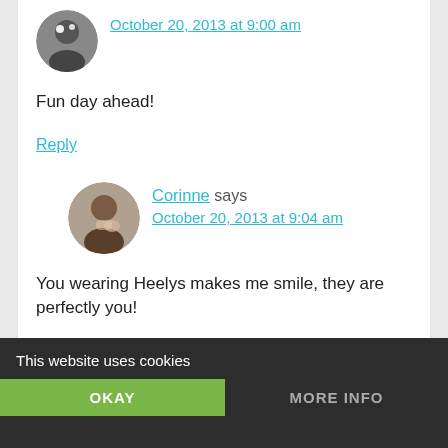October 20, 2013 at 9:00 am
Fun day ahead!
Reply
Corinne says
October 20, 2013 at 9:04 am
You wearing Heelys makes me smile, they are perfectly you!
Reply
This website uses cookies
OKAY
MORE INFO